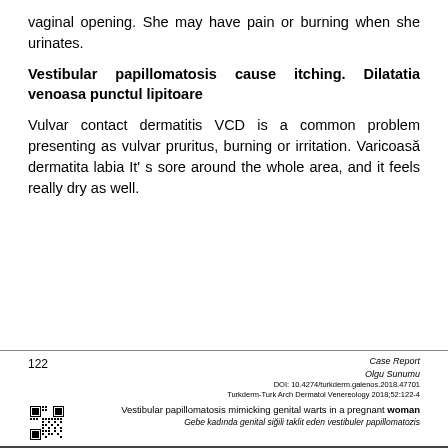vaginal opening. She may have pain or burning when she urinates.
Vestibular papillomatosis cause itching. Dilatatia venoasa punctul lipitoare
Vulvar contact dermatitis VCD is a common problem presenting as vulvar pruritus, burning or irritation. Varicoasă dermatita labia It' s sore around the whole area, and it feels really dry as well.
122 | Case Report | Olgu Sunumu | DOI: 10.4274/turkderm.galenos.2018.47701 | Turkderm-Turk Arch Dermatol Venereology 2018;52:122-4 | Vestibular papillomatosis mimicking genital warts in a pregnant woman | Gebe kadında genital siğili taklit eden vestibuler papillomatozis